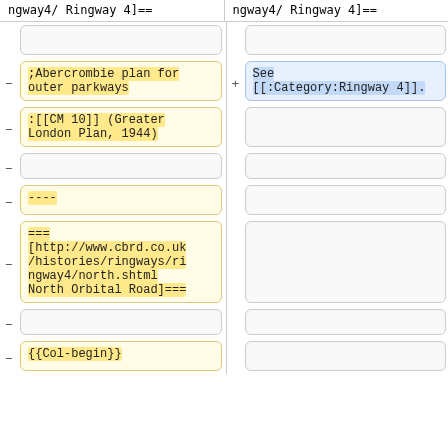ngway4/ Ringway 4]==
ngway4/ Ringway 4]==
;Abercrombie plan for outer parkways
See [[:Category:Ringway 4]].
:[[CM 10]] (Greater London Plan, 1944)
----
===
[http://www.cbrd.co.uk/histories/ringways/ringway4/north.shtml North Orbital Road]===
{{Col-begin}}